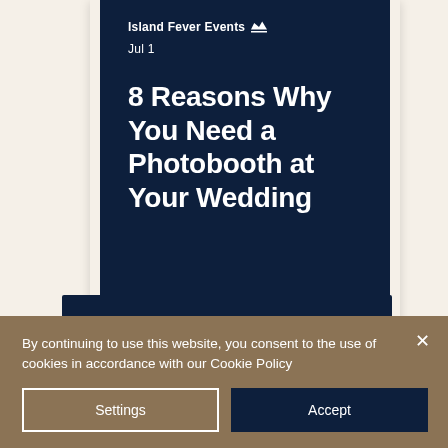[Figure (screenshot): Polaroid-style card with dark navy background showing blog post preview. Author: Island Fever Events with crown icon, date: Jul 1. Title text in white bold font.]
8 Reasons Why You Need a Photobooth at Your Wedding
Island Fever Events 👑 Jul 1
By continuing to use this website, you consent to the use of cookies in accordance with our Cookie Policy
Settings
Accept